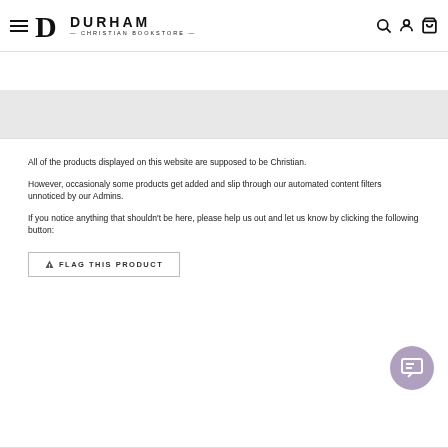Durham Christian Bookstore
All of the products displayed on this website are supposed to be Christian.
However, occasionaly some products get added and slip through our automated content filters unnoticed by our Admins.
If you notice anything that shouldn't be here, please help us out and let us know by clicking the following button:
⚠ FLAG THIS PRODUCT